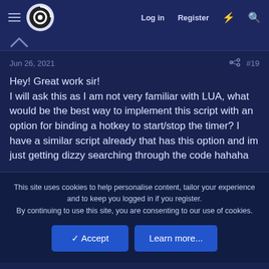Log in  Register
Jun 26, 2021  #19
Hey! Great work sir!
I will ask this as I am not very familiar with LUA, what would be the best way to implement this script with an option for binding a hotkey to start/stop the timer? I have a similar script already that has this option and im just getting dizzy searching through the code hahaha
This site uses cookies to help personalise content, tailor your experience and to keep you logged in if you register.
By continuing to use this site, you are consenting to our use of cookies.